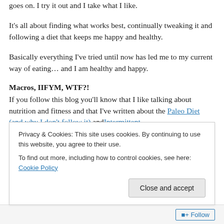goes on. I try it out and I take what I like.
It’s all about finding what works best, continually tweaking it and following a diet that keeps me happy and healthy.
Basically everything I’ve tried until now has led me to my current way of eating… and I am healthy and happy.
Macros, IIFYM, WTF?!
If you follow this blog you’ll know that I like talking about nutrition and fitness and that I’ve written about the Paleo Diet (and why I don’t follow it) and Intermittent
Privacy & Cookies: This site uses cookies. By continuing to use this website, you agree to their use.
To find out more, including how to control cookies, see here: Cookie Policy
Close and accept